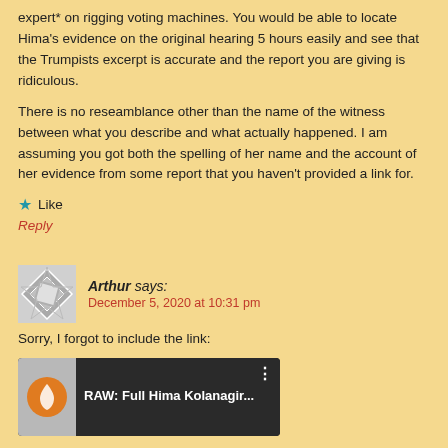expert* on rigging voting machines. You would be able to locate Hima's evidence on the original hearing 5 hours easily and see that the Trumpists excerpt is accurate and the report you are giving is ridiculous.
There is no reseamblance other than the name of the witness between what you describe and what actually happened. I am assuming you got both the spelling of her name and the account of her evidence from some report that you haven't provided a link for.
Like
Reply
Arthur says:
December 5, 2020 at 10:31 pm
Sorry, I forgot to include the link:
[Figure (screenshot): Video thumbnail showing 'RAW: Full Hima Kolanagir...' with a logo on the left and people in the background on the right]